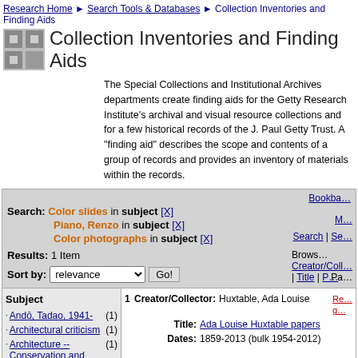Research Home > Search Tools & Databases > Collection Inventories and Finding Aids
Collection Inventories and Finding Aids
The Special Collections and Institutional Archives departments create finding aids for the Getty Research Institute's archival and visual resource collections and for a few historical records of the J. Paul Getty Trust. A "finding aid" describes the scope and contents of a group of records and provides an inventory of materials within the records.
Search: Color slides in subject [X] Piano, Renzo in subject [X] Color photographs in subject [X] Results: 1 Item Sort by: relevance Go!
| Subject | Count |
| --- | --- |
| Andō, Tadao, 1941- | (1) |
| Architectural criticism | (1) |
| Architecture -- Conservation and restoration | (1) |